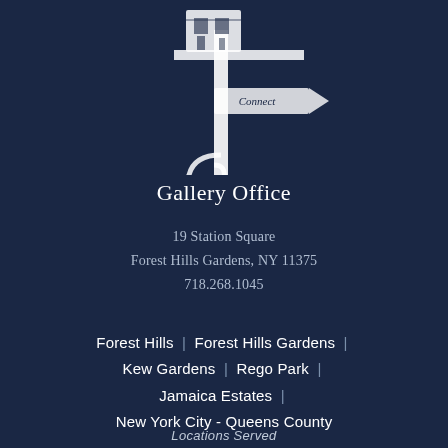[Figure (logo): White illustrated logo showing a street sign post with decorative scrollwork and a directional arrow sign reading 'Connect', on dark navy background]
Gallery Office
19 Station Square
Forest Hills Gardens, NY 11375
718.268.1045
Forest Hills | Forest Hills Gardens | Kew Gardens | Rego Park | Jamaica Estates | New York City - Queens County
Locations Served